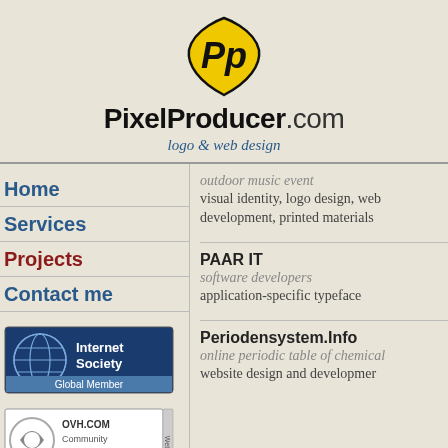[Figure (logo): PixelProducer logo: yellow shield with black 'Pp' letters]
PixelProducer.com
logo & web design
Home
Services
Projects
Contact me
[Figure (logo): Internet Society Global Member badge]
[Figure (logo): OVH.COM Community Partner Web badge]
outdoor music event
visual identity, logo design, web development, printed materials
PAAR IT
software developers
application-specific typeface
Periodensystem.Info
online periodic table of chemical
website design and development